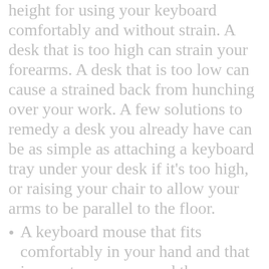height for using your keyboard comfortably and without strain. A desk that is too high can strain your forearms. A desk that is too low can cause a strained back from hunching over your work. A few solutions to remedy a desk you already have can be as simple as attaching a keyboard tray under your desk if it's too high, or raising your chair to allow your arms to be parallel to the floor.
A keyboard mouse that fits comfortably in your hand and that is easy to move around the mousepad without difficulty. Your mouse and keyboard should be at a comfortable height.